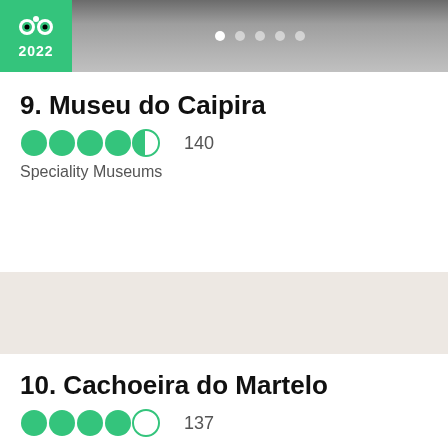[Figure (logo): TripAdvisor 2022 Travellers Choice badge - green circle with owl logo and 2022 text]
9. Museu do Caipira
4.5 stars  140
Speciality Museums
[Figure (photo): Light beige/pink toned image area for Museu do Caipira]
10. Cachoeira do Martelo
4.0 stars  137